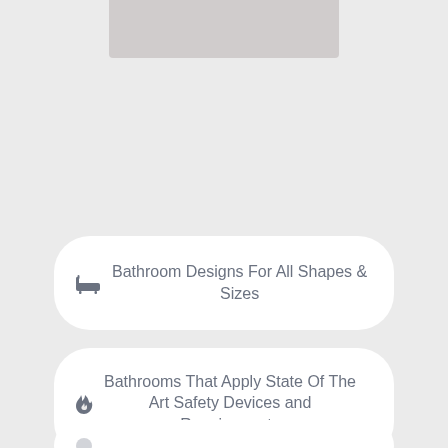[Figure (other): Partial image at top of page, light gray/beige background, cropped]
Bathroom Designs For All Shapes & Sizes
Bathrooms That Apply State Of The Art Safety Devices and Requirements
(partially visible card at bottom)